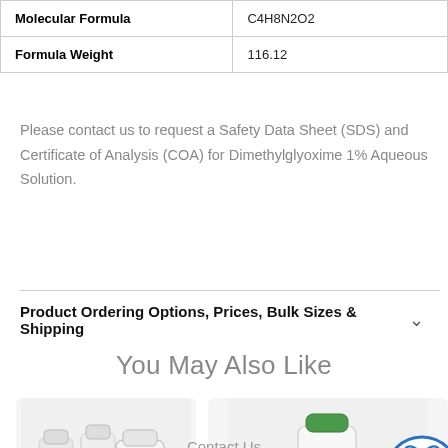| Property | Value |
| --- | --- |
| Molecular Formula | C4H8N2O2 |
| Formula Weight | 116.12 |
Please contact us to request a Safety Data Sheet (SDS) and Certificate of Analysis (COA) for Dimethylglyoxime 1% Aqueous Solution.
Product Ordering Options, Prices, Bulk Sizes & Shipping
You May Also Like
[Figure (photo): Product bottles (left card)]
[Figure (photo): Hydrogen Peroxide bottle with green cap (right card)]
[Figure (logo): Atom/science logo icon (blue circle with atom symbol)]